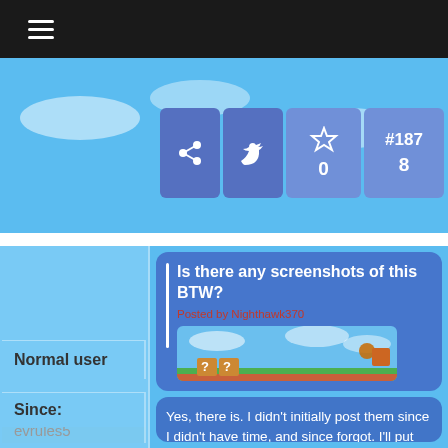≡ (hamburger menu)
[Figure (screenshot): Website interface showing icon bar with share, Twitter, star icons, 0 count, #187, and 8]
[Figure (photo): Mii avatar character with red Mario hat]
evrules5
Normal user
Since:
Is there any screenshots of this BTW?
Posted by Nighthawk370
[Figure (screenshot): Super Mario Bros game screenshot with platforms, clouds, question blocks]
Yes, there is. I didn't initially post them since I didn't have time, and since forgot. I'll put them up now.
Switch FC: SW-2249-3632-